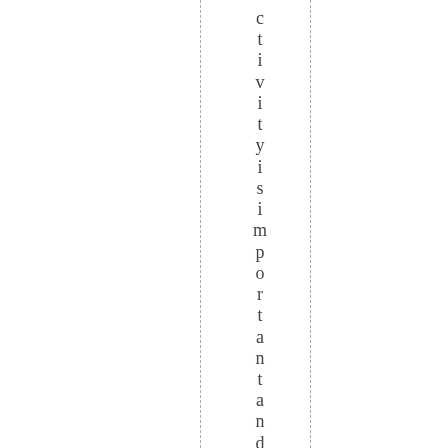ctivity is important and so la